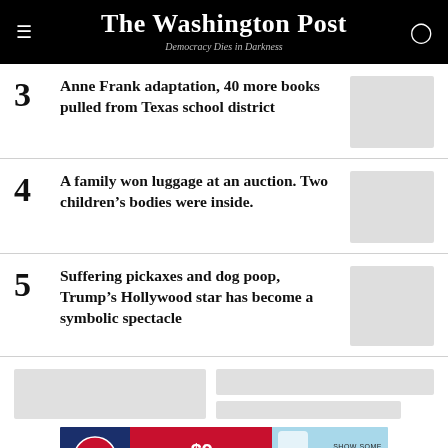The Washington Post — Democracy Dies in Darkness
3 Anne Frank adaptation, 40 more books pulled from Texas school district
4 A family won luggage at an auction. Two children's bodies were inside.
5 Suffering pickaxes and dog poop, Trump's Hollywood star has become a symbolic spectacle
[Figure (screenshot): Partial content placeholders and Washington Nationals advertisement banner: TICKETS START AT $9, SHOW SOME NATITUDE, NATIONALS.COM]